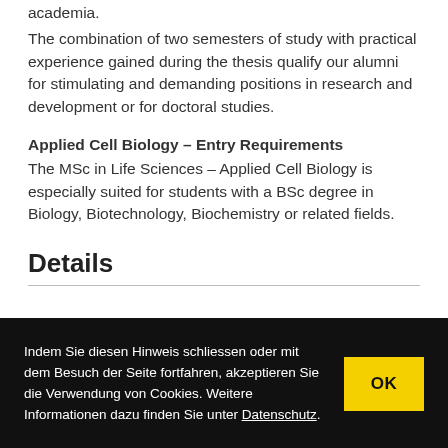academia.
The combination of two semesters of study with practical experience gained during the thesis qualify our alumni for stimulating and demanding positions in research and development or for doctoral studies.
Applied Cell Biology – Entry Requirements
The MSc in Life Sciences – Applied Cell Biology is especially suited for students with a BSc degree in Biology, Biotechnology, Biochemistry or related fields.
Details
Indem Sie diesen Hinweis schliessen oder mit dem Besuch der Seite fortfahren, akzeptieren Sie die Verwendung von Cookies. Weitere Informationen dazu finden Sie unter Datenschutz.